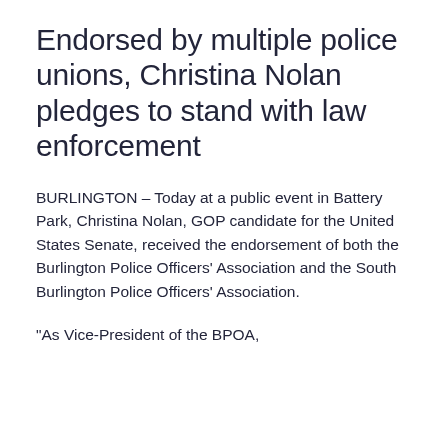Endorsed by multiple police unions, Christina Nolan pledges to stand with law enforcement
BURLINGTON – Today at a public event in Battery Park, Christina Nolan, GOP candidate for the United States Senate, received the endorsement of both the Burlington Police Officers' Association and the South Burlington Police Officers' Association.
“As Vice-President of the BPOA,